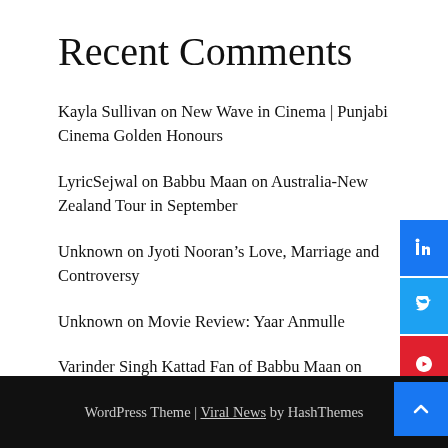Recent Comments
Kayla Sullivan on New Wave in Cinema | Punjabi Cinema Golden Honours
LyricSejwal on Babbu Maan on Australia-New Zealand Tour in September
Unknown on Jyoti Nooran’s Love, Marriage and Controversy
Unknown on Movie Review: Yaar Anmulle
Varinder Singh Kattad Fan of Babbu Maan on Gurda Maan Roti not available in Australia and London | Fans Disappointed | Now Available
WordPress Theme | Viral News by HashThemes